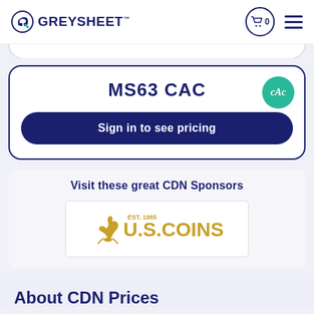GREYSHEET
MS63 CAC
Sign in to see pricing
Visit these great CDN Sponsors
[Figure (logo): U.S. Coins EST. 1985 logo with eagle/ibis figure]
About CDN Prices